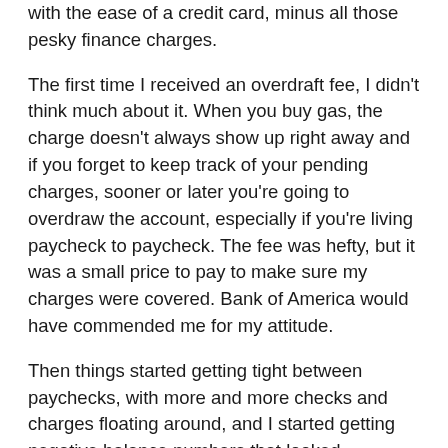with the ease of a credit card, minus all those pesky finance charges.
The first time I received an overdraft fee, I didn't think much about it. When you buy gas, the charge doesn't always show up right away and if you forget to keep track of your pending charges, sooner or later you're going to overdraw the account, especially if you're living paycheck to paycheck. The fee was hefty, but it was a small price to pay to make sure my charges were covered. Bank of America would have commended me for my attitude.
Then things started getting tight between paychecks, with more and more checks and charges floating around, and I started getting negative balance numbers that looked strangely plump. I thought maybe someone over the internet had stolen my account number, but the charges were all mine. In fact, I'd made several of them that same day. Twenty dollars here, six dollars there, twelve dollars somewhere else... and even though the balance must have been precariously low when I made the first of the three transactions, I was sure that the other transactions should